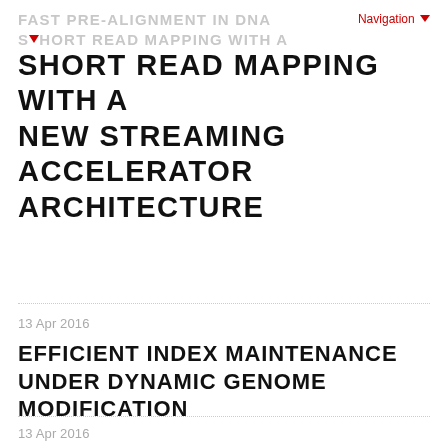FAST PRE-ALIGNMENT IN DNA SHORT READ MAPPING WITH A NEW STREAMING ACCELERATOR ARCHITECTURE
Navigation ▼
SHORT READ MAPPING WITH A NEW STREAMING ACCELERATOR ARCHITECTURE
13 Apr 2016
EFFICIENT INDEX MAINTENANCE UNDER DYNAMIC GENOME MODIFICATION
13 Apr 2016